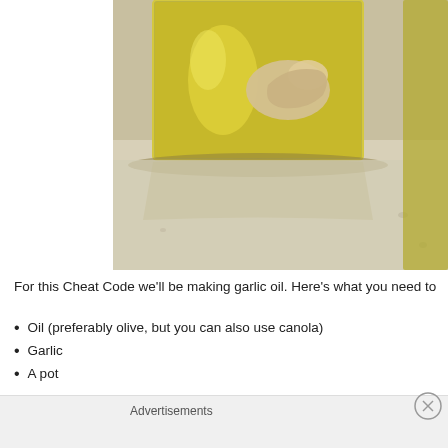[Figure (photo): Close-up photo of a glass jar/bottle containing golden-yellow garlic-infused oil with a garlic clove visible inside, photographed on a light gray/white surface]
For this Cheat Code we'll be making garlic oil. Here's what you need to
Oil (preferably olive, but you can also use canola)
Garlic
A pot
Advertisements